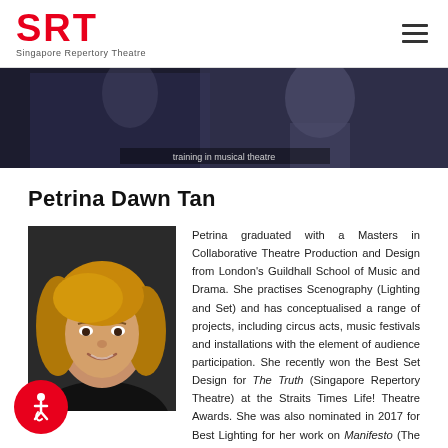SRT Singapore Repertory Theatre
[Figure (photo): Dark banner image, partially visible theatre or performance scene, with caption text 'training in musical theatre']
Petrina Dawn Tan
[Figure (photo): Headshot portrait of Petrina Dawn Tan, a young woman with highlighted auburn hair, smiling against a dark background]
Petrina graduated with a Masters in Collaborative Theatre Production and Design from London's Guildhall School of Music and Drama. She practises Scenography (Lighting and Set) and has conceptualised a range of projects, including circus acts, music festivals and installations with the element of audience participation. She recently won the Best Set Design for The Truth (Singapore Repertory Theatre) at the Straits Times Life! Theatre Awards. She was also nominated in 2017 for Best Lighting for her work on Manifesto (The Necessary Stage & Drama Box). Her design